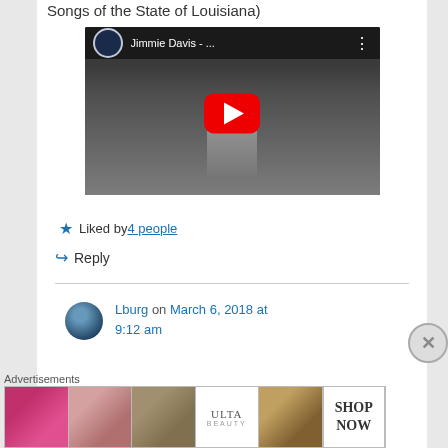Songs of the State of Louisiana)
[Figure (screenshot): YouTube video embed showing Jimmie Davis with play button, thumbnail is a black and white photo of a man in a hat]
★ Liked by 4 people
↪ Reply
Lburg on March 6, 2018 at 9:12 am
Advertisements
[Figure (infographic): Ulta Beauty advertisement banner with makeup imagery and SHOP NOW call to action]